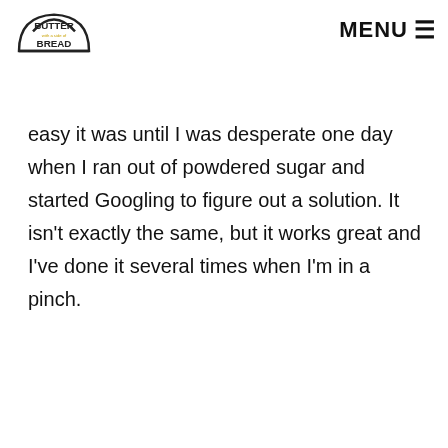BUTTER with a side of BREAD | MENU
easy it was until I was desperate one day when I ran out of powdered sugar and started Googling to figure out a solution. It isn't exactly the same, but it works great and I've done it several times when I'm in a pinch.